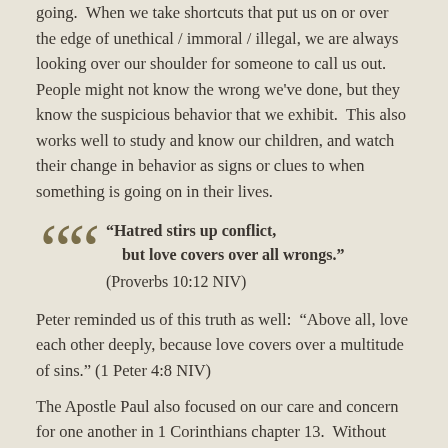going.  When we take shortcuts that put us on or over the edge of unethical / immoral / illegal, we are always looking over our shoulder for someone to call us out.  People might not know the wrong we've done, but they know the suspicious behavior that we exhibit.  This also works well to study and know our children, and watch their change in behavior as signs or clues to when something is going on in their lives.
“Hatred stirs up conflict, but love covers over all wrongs.” (Proverbs 10:12 NIV)
Peter reminded us of this truth as well:  “Above all, love each other deeply, because love covers over a multitude of sins.” (1 Peter 4:8 NIV)
The Apostle Paul also focused on our care and concern for one another in 1 Corinthians chapter 13.  Without love as the basis for our actions and attitudes, life is a selfish and cold place.